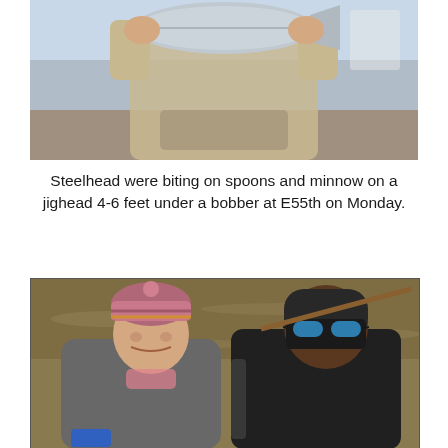[Figure (photo): Person holding a steelhead fish up with both hands, outdoors near water, wearing tan/khaki jacket.]
Steelhead were biting on spoons and minnow on a jighead 4-6 feet under a bobber at E55th on Monday.
[Figure (photo): Two anglers standing in a muddy river, one wearing a colorful beanie and puffer jacket, the other wearing sunglasses and a dark jacket with fishing gear and a fly rod.]